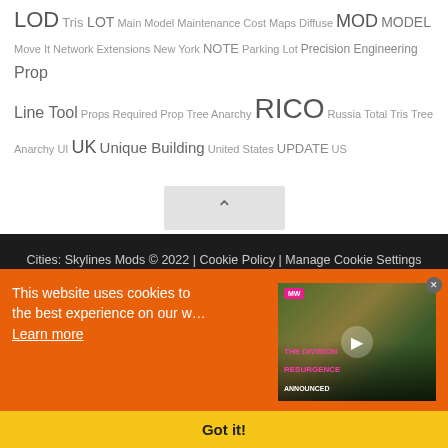LOD Tris LOT Main Model Maintenance Cost Maps Diffuse MOD MODEL Move It Network Extensions New York NOTE Parking Lot Precision Engineering Prop Line Tool Props Required Prop Tree Anarchy RICO Russia Total Tris Tree Anarchy UI UK Unique Building United States UPDATE US
[Figure (screenshot): Scroll-to-top button (upward chevron) on white background]
Cities: Skylines Mods © 2022 | Cookie Policy | Manage Cookie Settings
...simulator 22
[Figure (screenshot): Cookie consent banner with orange background, text reading 'This website uses cookies to... the best experience on our w...' and 'Learn more' link, alongside a video thumbnail for 'The Division Resurgence Announced' with MW logo and play button. Yellow 'Got it!' button at bottom.]